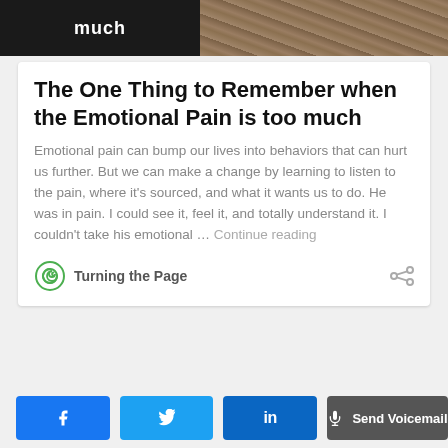[Figure (photo): Partial image at top showing dark left section with text 'much' in white and a brownish/rocky textured right section]
The One Thing to Remember when the Emotional Pain is too much
Emotional pain can bump our lives into behaviors that can hurt us further. But we can make a change by learning to listen to the pain, where it's sourced, and what it wants us to do. He was in pain. I could see it, feel it, and totally understand it. I couldn't take his emotional … Continue reading
Turning the Page
Facebook Twitter LinkedIn Send Voicemail